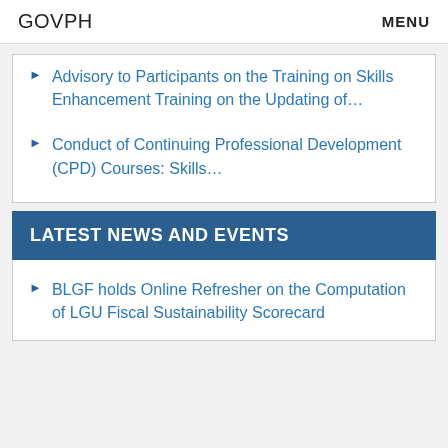GOVPH    MENU
Advisory to Participants on the Training on Skills Enhancement Training on the Updating of…
Conduct of Continuing Professional Development (CPD) Courses: Skills…
LATEST NEWS AND EVENTS
BLGF holds Online Refresher on the Computation of LGU Fiscal Sustainability Scorecard